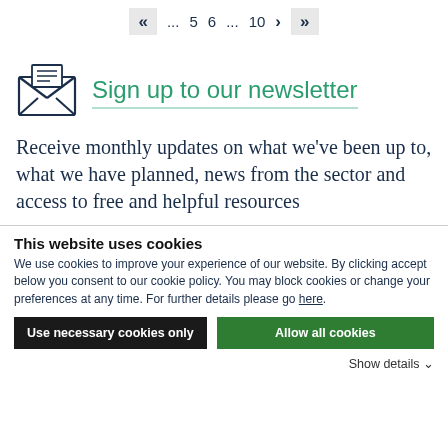« ... 5  6  ... 10 > »
[Figure (illustration): Envelope icon with letter inside, outline style in dark navy blue]
Sign up to our newsletter
Receive monthly updates on what we've been up to, what we have planned, news from the sector and access to free and helpful resources
This website uses cookies
We use cookies to improve your experience of our website. By clicking accept below you consent to our cookie policy. You may block cookies or change your preferences at any time. For further details please go here.
Use necessary cookies only
Allow all cookies
Show details